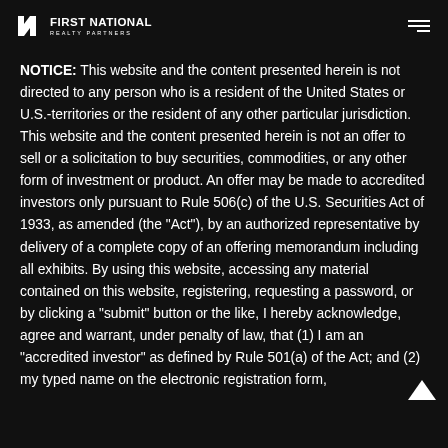FIRST NATIONAL REALTY PARTNERS
NOTICE: This website and the content presented herein is not directed to any person who is a resident of the United States or U.S.-territories or the resident of any other particular jurisdiction. This website and the content presented herein is not an offer to sell or a solicitation to buy securities, commodities, or any other form of investment or product. An offer may be made to accredited investors only pursuant to Rule 506(c) of the U.S. Securities Act of 1933, as amended (the "Act"), by an authorized representative by delivery of a complete copy of an offering memorandum including all exhibits. By using this website, accessing any material contained on this website, registering, requesting a password, or by clicking a "submit" button or the like, I hereby acknowledge, agree and warrant, under penalty of law, that (1) I am an "accredited investor" as defined by Rule 501(a) of the Act; and (2) my typed name on the electronic registration form,